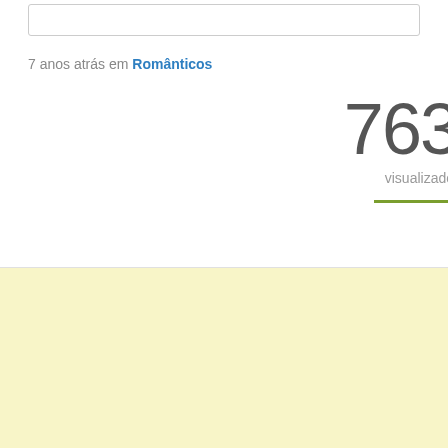7 anos atrás em Românticos
763
visualizado